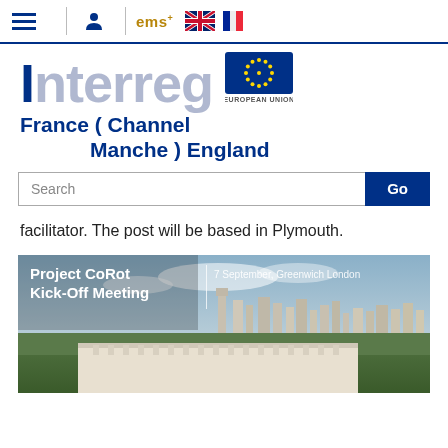Interreg France (Channel Manche) England — Navigation bar with hamburger menu, person icon, EMS, UK flag, French flag
[Figure (logo): Interreg logo with 'France (Channel Manche) England' text and EU flag badge]
facilitator. The post will be based in Plymouth.
[Figure (photo): Project CoRot Kick-Off Meeting | 7 September, Greenwich London — aerial photo of Greenwich, London skyline]